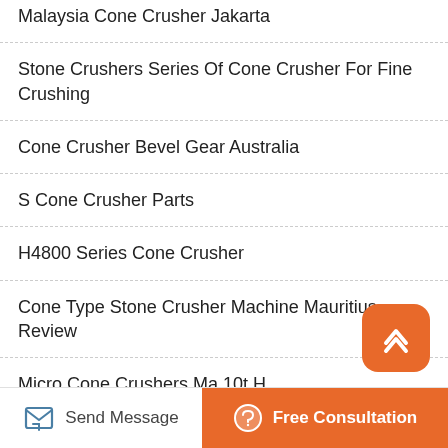Malaysia Cone Crusher Jakarta
Stone Crushers Series Of Cone Crusher For Fine Crushing
Cone Crusher Bevel Gear Australia
S Cone Crusher Parts
H4800 Series Cone Crusher
Cone Type Stone Crusher Machine Mauritius Review
Micro Cone Crushers Ma 10t H
Cone Crushers Capacity Charts
Send Message | Free Consultation